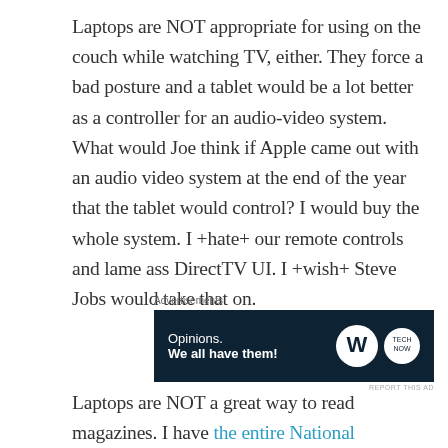Laptops are NOT appropriate for using on the couch while watching TV, either. They force a bad posture and a tablet would be a lot better as a controller for an audio-video system. What would Joe think if Apple came out with an audio video system at the end of the year that the tablet would control? I would buy the whole system. I +hate+ our remote controls and lame ass DirectTV UI. I +wish+ Steve Jobs would take that on.
[Figure (other): Advertisement banner with dark navy background. Text reads 'Opinions. We all have them!' with WordPress and TechNow logos on the right.]
Laptops are NOT a great way to read magazines. I have the entire National Geographic on one hard